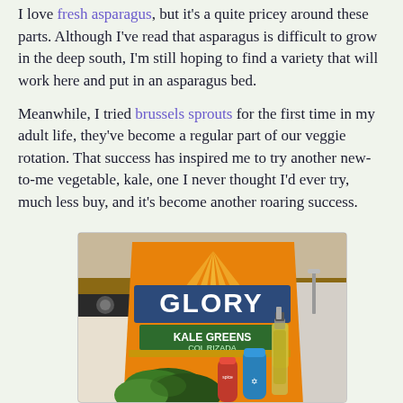I love fresh asparagus, but it's a quite pricey around these parts.  Although I've read that asparagus is difficult to grow in the deep south, I'm still hoping to find a variety that will work here and put in an asparagus bed.
Meanwhile, I tried brussels sprouts for the first time in my adult life, they've become a regular part of our veggie rotation.  That success has inspired me to try another new-to-me vegetable, kale, one I never thought I'd ever try, much less buy, and it's become another roaring success.
[Figure (photo): Photo of a bag of Glory brand Kale Greens (Col Rizada) sitting on a kitchen counter in front of a stove, with kale leaves visible in front of the bag along with a bottle of oil, a blue cylindrical spice container, and a red spice container.]